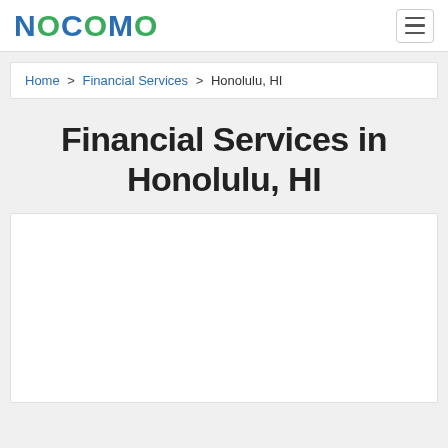NOCOMO
Home > Financial Services > Honolulu, HI
Financial Services in Honolulu, HI
[Figure (other): White content box placeholder area]